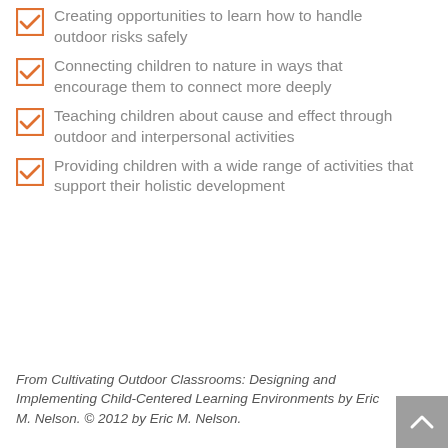Creating opportunities to learn how to handle outdoor risks safely
Connecting children to nature in ways that encourage them to connect more deeply
Teaching children about cause and effect through outdoor and interpersonal activities
Providing children with a wide range of activities that support their holistic development
From Cultivating Outdoor Classrooms: Designing and Implementing Child-Centered Learning Environments by Eric M. Nelson. © 2012 by Eric M. Nelson.